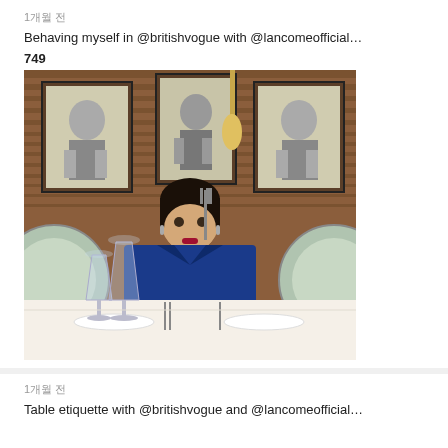1개월 전
Behaving myself in @britishvogue with @lancomeofficial…
749
[Figure (photo): A woman in a blue blazer sitting at a restaurant table, holding a fork in front of her face. Behind her are three framed black-and-white portraits on wooden paneled walls. The table is set with wine glasses, plates, and cutlery.]
1개월 전
Table etiquette with @britishvogue and @lancomeofficial…